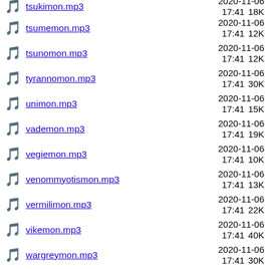tsukimon.mp3  2020-11-06 17:41  18K
tsumemon.mp3  2020-11-06 17:41  12K
tsunomon.mp3  2020-11-06 17:41  12K
tyrannomon.mp3  2020-11-06 17:41  30K
unimon.mp3  2020-11-06 17:41  15K
vademon.mp3  2020-11-06 17:41  19K
vegiemon.mp3  2020-11-06 17:41  10K
venommyotismon.mp3  2020-11-06 17:41  13K
vermilimon.mp3  2020-11-06 17:41  22K
vikemon.mp3  2020-11-06 17:41  40K
wargreymon.mp3  2020-11-06 17:41  30K
warumonzaemon.mp3  2020-11-06 17:41  10K